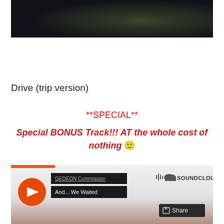[Figure (photo): Dark atmospheric photo, top portion of a scene with trees and dark background]
Drive (trip version)
**SPECIAL**
Special BONUS Track!!! AT the whole cost of nothing 🙂
[Figure (screenshot): SoundCloud embedded player widget showing GEDEON Commission - And... We Waited with play button, share button, and SoundCloud logo]